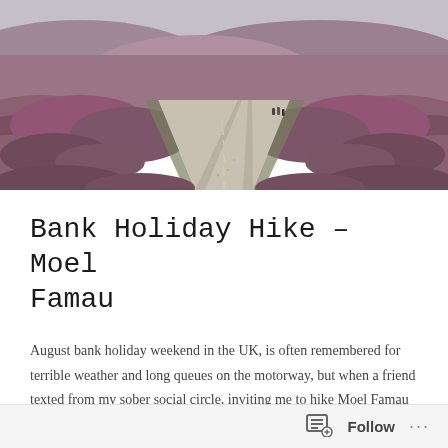[Figure (photo): Landscape photo of a gravel path or trail through moorland with purple heather on both sides, leading into the distance. Sky is overcast grey. A few people can be seen far along the path.]
Bank Holiday Hike – Moel Famau
August bank holiday weekend in the UK, is often remembered for terrible weather and long queues on the motorway, but when a friend texted from my sober social circle, inviting me to hike Moel Famau (Mother Mountain), I couldnt resist.
The hill in the north east Welsh county